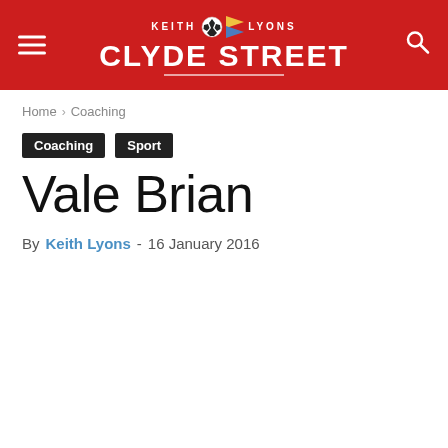Keith Lyons Clyde Street
Home › Coaching
Coaching
Sport
Vale Brian
By Keith Lyons - 16 January 2016